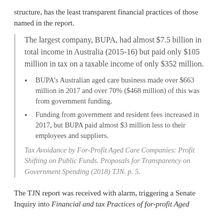structure, has the least transparent financial practices of those named in the report.
The largest company, BUPA, had almost $7.5 billion in total income in Australia (2015-16) but paid only $105 million in tax on a taxable income of only $352 million.
BUPA's Australian aged care business made over $663 million in 2017 and over 70% ($468 million) of this was from government funding.
Funding from government and resident fees increased in 2017, but BUPA paid almost $3 million less to their employees and suppliers.
Tax Avoidance by For-Profit Aged Care Companies: Profit Shifting on Public Funds. Proposals for Transparency on Government Spending (2018) TJN. p. 5.
The TJN report was received with alarm, triggering a Senate Inquiry into Financial and tax Practices of for-profit Aged